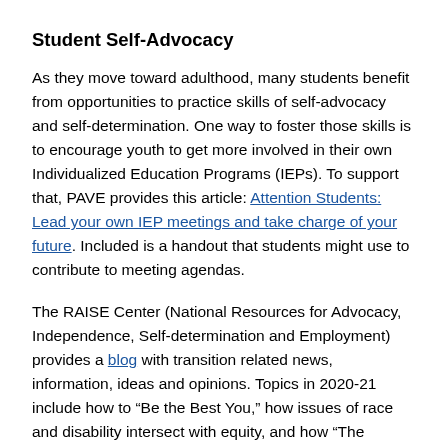Student Self-Advocacy
As they move toward adulthood, many students benefit from opportunities to practice skills of self-advocacy and self-determination. One way to foster those skills is to encourage youth to get more involved in their own Individualized Education Programs (IEPs). To support that, PAVE provides this article: Attention Students: Lead your own IEP meetings and take charge of your future. Included is a handout that students might use to contribute to meeting agendas.
The RAISE Center (National Resources for Advocacy, Independence, Self-determination and Employment) provides a blog with transition related news, information, ideas and opinions. Topics in 2020-21 include how to “Be the Best You,” how issues of race and disability intersect with equity, and how “The Disability